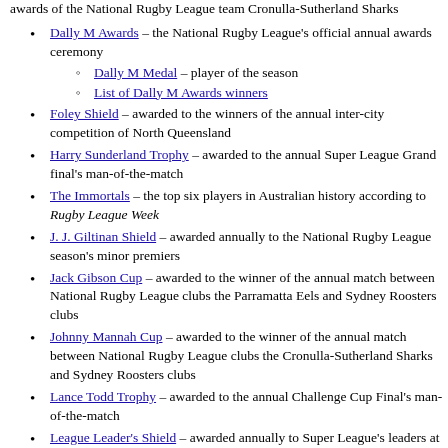awards of the National Rugby League team Cronulla-Sutherland Sharks
Dally M Awards – the National Rugby League's official annual awards ceremony
Dally M Medal – player of the season
List of Dally M Awards winners
Foley Shield – awarded to the winners of the annual inter-city competition of North Queensland
Harry Sunderland Trophy – awarded to the annual Super League Grand final's man-of-the-match
The Immortals – the top six players in Australian history according to Rugby League Week
J. J. Giltinan Shield – awarded annually to the National Rugby League season's minor premiers
Jack Gibson Cup – awarded to the winner of the annual match between National Rugby League clubs the Parramatta Eels and Sydney Roosters clubs
Johnny Mannah Cup – awarded to the winner of the annual match between National Rugby League clubs the Cronulla-Sutherland Sharks and Sydney Roosters clubs
Lance Todd Trophy – awarded to the annual Challenge Cup Final's man-of-the-match
League Leader's Shield – awarded annually to Super League's leaders at the end of the regular season
Mal Meninga Medal – awarded to the Canberra Raiders